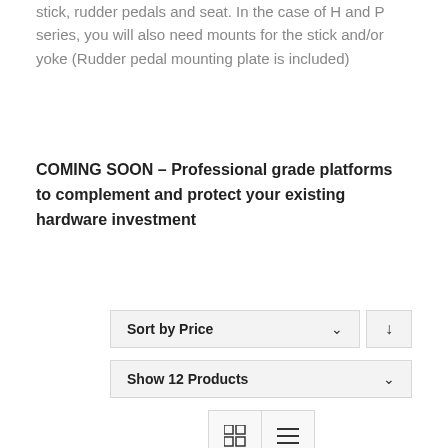stick, rudder pedals and seat. In the case of H and P series, you will also need mounts for the stick and/or yoke (Rudder pedal mounting plate is included)
COMING SOON – Professional grade platforms to complement and protect your existing hardware investment
[Figure (screenshot): UI controls: Sort by Price dropdown with down arrow button, Show 12 Products dropdown, and grid/list view toggle buttons]